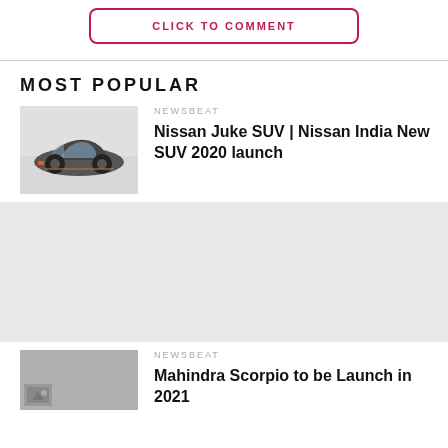CLICK TO COMMENT
MOST POPULAR
[Figure (photo): Nissan Juke SUV dark grey car photo]
NEWSBEAT
Nissan Juke SUV | Nissan India New SUV 2020 launch
[Figure (other): Advertisement/grey block]
NEWSBEAT
Mahindra Scorpio to be Launch in 2021